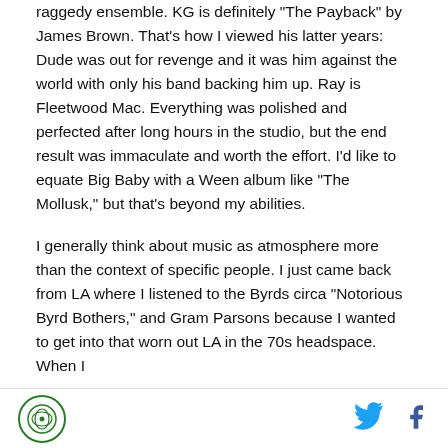raggedy ensemble. KG is definitely "The Payback" by James Brown. That's how I viewed his latter years: Dude was out for revenge and it was him against the world with only his band backing him up. Ray is Fleetwood Mac. Everything was polished and perfected after long hours in the studio, but the end result was immaculate and worth the effort. I'd like to equate Big Baby with a Ween album like "The Mollusk," but that's beyond my abilities.
I generally think about music as atmosphere more than the context of specific people. I just came back from LA where I listened to the Byrds circa "Notorious Byrd Bothers," and Gram Parsons because I wanted to get into that worn out LA in the 70s headspace. When I
[logo] [twitter] [facebook]